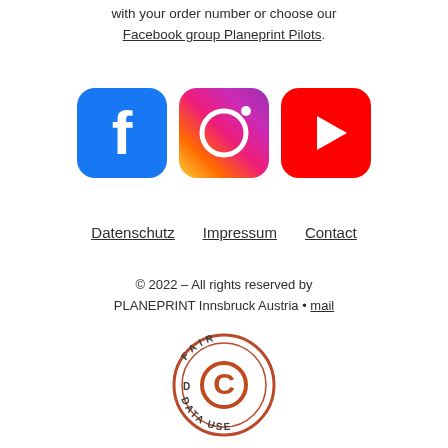with your order number or choose our Facebook group Planeprint Pilots.
[Figure (logo): Three social media icons: Facebook (blue rounded square with white f), Instagram (gradient rounded square with white camera/circle icon), YouTube (red rounded rectangle with white play button triangle)]
Datenschutz   Impressum   Contact
© 2022 – All rights reserved by PLANEPRINT Innsbruck Austria • mail
[Figure (logo): Fair Data Use circular stamp logo — orange/rust colored circle border with text FAIR DATA USE around the perimeter and a copyright C symbol in the center]